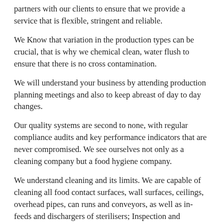partners with our clients to ensure that we provide a service that is flexible, stringent and reliable.
We Know that variation in the production types can be crucial, that is why we chemical clean, water flush to ensure that there is no cross contamination.
We will understand your business by attending production planning meetings and also to keep abreast of day to day changes.
Our quality systems are second to none, with regular compliance audits and key performance indicators that are never compromised. We see ourselves not only as a cleaning company but a food hygiene company.
We understand cleaning and its limits. We are capable of cleaning all food contact surfaces, wall surfaces, ceilings, overhead pipes, can runs and conveyors, as well as in-feeds and dischargers of sterilisers; Inspection and unblocking of very complex maze of production drains; and so on. Janitorial and office cleaning are also part of the services provided by our team.
Our weekly in-depth clean is second to none. At Assertio